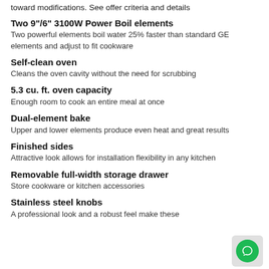toward modifications. See offer criteria and details
Two 9"/6" 3100W Power Boil elements
Two powerful elements boil water 25% faster than standard GE elements and adjust to fit cookware
Self-clean oven
Cleans the oven cavity without the need for scrubbing
5.3 cu. ft. oven capacity
Enough room to cook an entire meal at once
Dual-element bake
Upper and lower elements produce even heat and great results
Finished sides
Attractive look allows for installation flexibility in any kitchen
Removable full-width storage drawer
Store cookware or kitchen accessories
Stainless steel knobs
A professional look and a robust feel make these